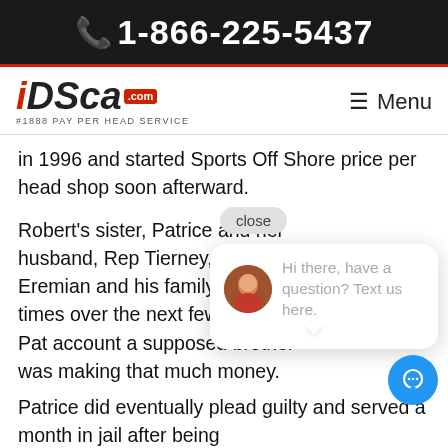1-866-225-5437
[Figure (logo): iDSca.com #1888 Pay Per Head Service logo with Menu button]
in 1996 and started Sports Off Shore price per head shop soon afterward.
Robert's sister, Patrice and her husband, Rep Tierney, visited Eremian and his family several times over the next few years. Pat account a supposed brother was making that much money.
[Figure (screenshot): Chat popup with close button and avatar, text: Hi there, have a question? Text us here.]
Patrice did eventually plead guilty and served a month in jail after being